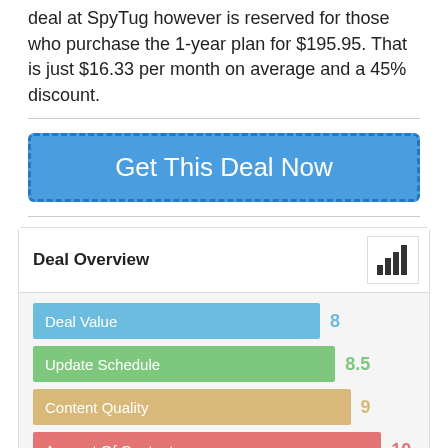deal at SpyTug however is reserved for those who purchase the 1-year plan for $195.95. That is just $16.33 per month on average and a 45% discount.
[Figure (other): Blue CTA button labeled 'Get This Deal Now' with dashed border]
Deal Overview
[Figure (bar-chart): Deal Overview]